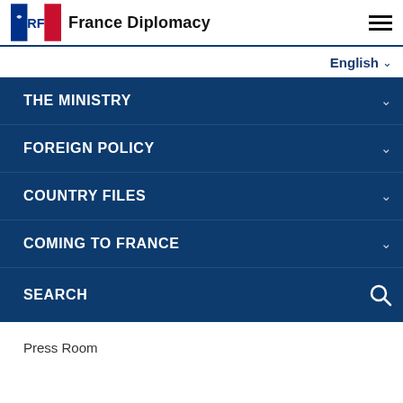France Diplomacy
English
THE MINISTRY
FOREIGN POLICY
COUNTRY FILES
COMING TO FRANCE
SEARCH
Press Room